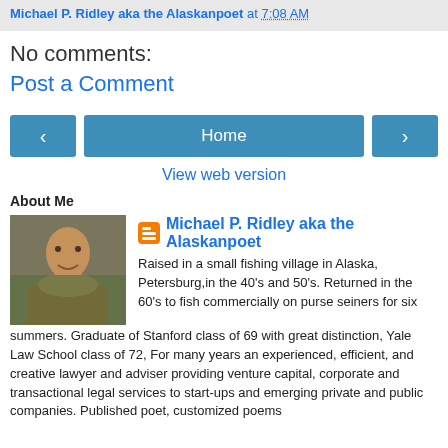Michael P. Ridley aka the Alaskanpoet at 7:08 AM
No comments:
Post a Comment
[Figure (infographic): Navigation buttons: left arrow, Home, right arrow]
View web version
About Me
[Figure (photo): Profile photo of Michael P. Ridley]
Michael P. Ridley aka the Alaskanpoet
Raised in a small fishing village in Alaska, Petersburg,in the 40's and 50's. Returned in the 60's to fish commercially on purse seiners for six summers. Graduate of Stanford class of 69 with great distinction, Yale Law School class of 72, For many years an experienced, efficient, and creative lawyer and adviser providing venture capital, corporate and transactional legal services to start-ups and emerging private and public companies. Published poet, customized poems